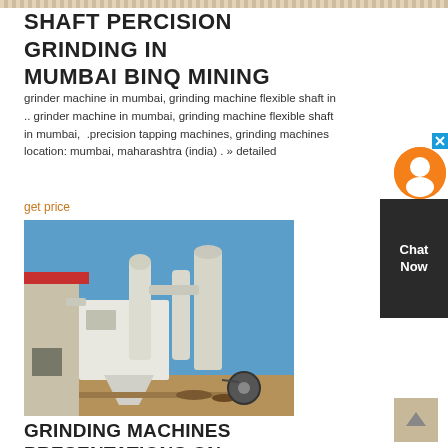SHAFT PERCISION GRINDING IN MUMBAI BINQ MINING
SHAFT PERCISION GRINDING IN MUMBAI BINQ MINING
grinder machine in mumbai, grinding machine flexible shaft in .. grinder machine in mumbai, grinding machine flexible shaft in mumbai, .precision tapping machines, grinding machines location: mumbai, maharashtra (india) . » detailed
get price
[Figure (photo): Industrial grinding/milling machine equipment installed outdoors near a building with blue sky background]
GRINDING MACHINES PRESENTATIONS ON .